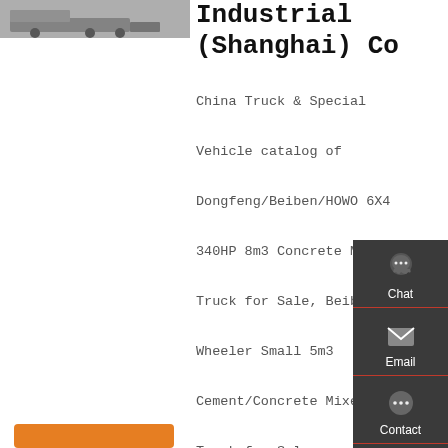[Figure (photo): Truck/concrete mixer truck photo thumbnail]
Industrial (Shanghai) Co
China Truck & Special Vehicle catalog of Dongfeng/Beiben/HOWO 6X4 340HP 8m3 Concrete Mixer Truck for Sale, Beiben Wheeler Small 5m3 Cement/Concrete Mixer Truck for Sale provided by China manufacturer Evangel Industrial (Shanghai) Co., Ltd., page11.
[Figure (infographic): Sidebar with Chat, Email, Contact, and Top navigation icons on dark background]